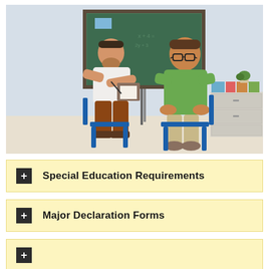[Figure (photo): A male teacher sitting on a small chair holding a clipboard and pen, speaking with a young boy wearing glasses and a green sweater, both seated facing each other in a classroom. A green chalkboard, blue chairs, and white storage drawers are visible in the background.]
+ Special Education Requirements
+ Major Declaration Forms
+